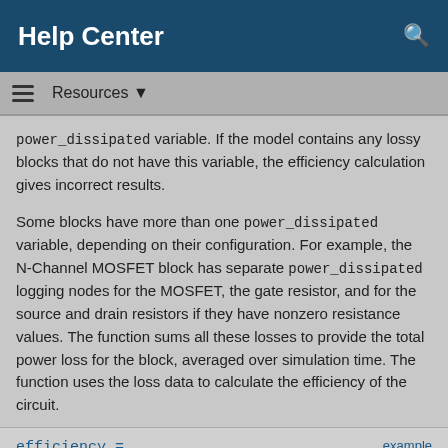Help Center
power_dissipated variable. If the model contains any lossy blocks that do not have this variable, the efficiency calculation gives incorrect results.
Some blocks have more than one power_dissipated variable, depending on their configuration. For example, the N-Channel MOSFET block has separate power_dissipated logging nodes for the MOSFET, the gate resistor, and for the source and drain resistors if they have nonzero resistance values. The function sums all these losses to provide the total power loss for the block, averaged over simulation time. The function uses the loss data to calculate the efficiency of the circuit.
efficiency =
ee_getEfficiency('loadIdentifier',noc